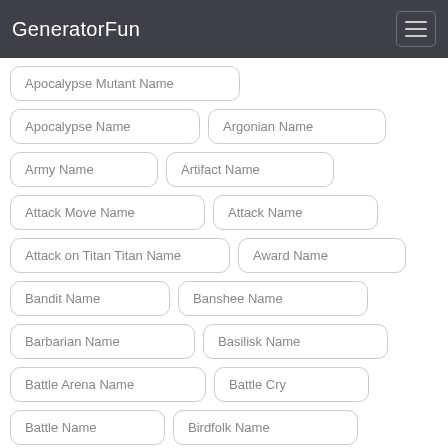GeneratorFun
Apocalypse Mutant Name
Apocalypse Name
Argonian Name
Army Name
Artifact Name
Attack Move Name
Attack Name
Attack on Titan Titan Name
Award Name
Bandit Name
Banshee Name
Barbarian Name
Basilisk Name
Battle Arena Name
Battle Cry
Battle Name
Birdfolk Name
Bluecap Name
Bounty Hunter Name